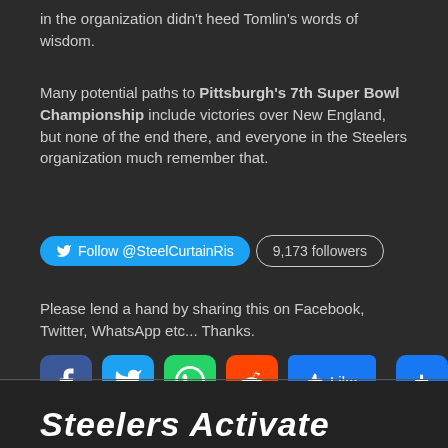in the organization didn't heed Tomlin's words of wisdom.
Many potential paths to Pittsburgh's 7th Super Bowl Championship include victories over New England, but none of the end there, and everyone in the Steelers organization much remember that.
[Figure (other): Twitter follow button showing @SteelCurtainRis with 9,173 followers]
Please lend a hand by sharing this on Facebook, Twitter, WhatsApp etc... Thanks.
[Figure (other): Social sharing icons: Facebook, Twitter, WhatsApp, Reddit, Like button, and plus/more button]
Steelers Activate